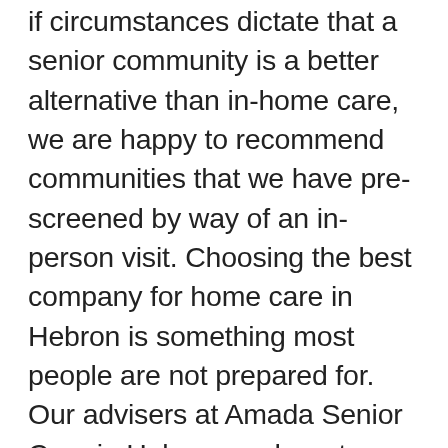if circumstances dictate that a senior community is a better alternative than in-home care, we are happy to recommend communities that we have pre-screened by way of an in-person visit. Choosing the best company for home care in Hebron is something most people are not prepared for. Our advisers at Amada Senior Care in Hebron are here to show you the way. You want what's best for your family, and we understand family.
Should the time arrive when the home care environment is no longer ideal for your senior loved one, we will help you find the ideal senior community in the Hebron area to meet all your senior loved one's specific physical, emotional, and financial needs. We have years of experience and knowledge of senior living options in the Hebron area, along with strong relationships with the